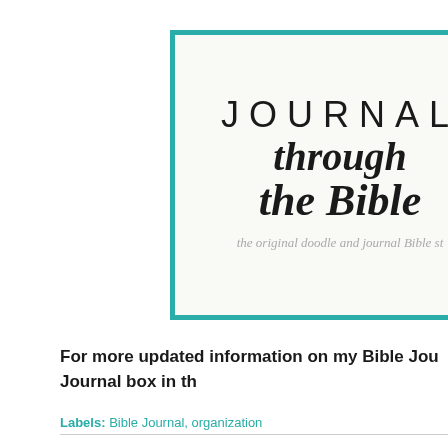[Figure (logo): Journal through the Bible logo with teal border on light background. Text reads JOURNAL (spaced caps), through (italic script), the Bible (italic serif), the original doodle and journal Bible st...]
For more updated information on my Bible Jou... Journal box in th...
Labels: Bible Journal, organization